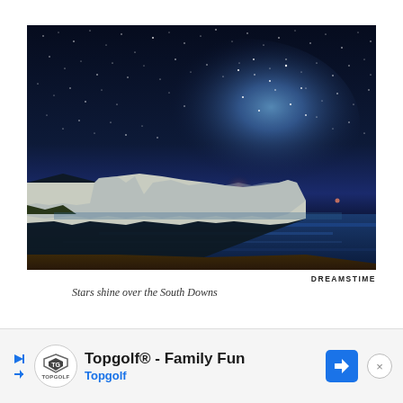[Figure (photo): Night sky photograph showing the Milky Way galaxy arc over white chalk cliffs (Seven Sisters, South Downs) beside the sea. Deep blue starry sky with bright galactic core visible. White cliffs on the left, ocean in the foreground.]
DREAMSTIME
Stars shine over the South Downs
[Figure (infographic): Advertisement banner for Topgolf® - Family Fun. Shows Topgolf logo, play button icons, navigation arrow icon, and close button.]